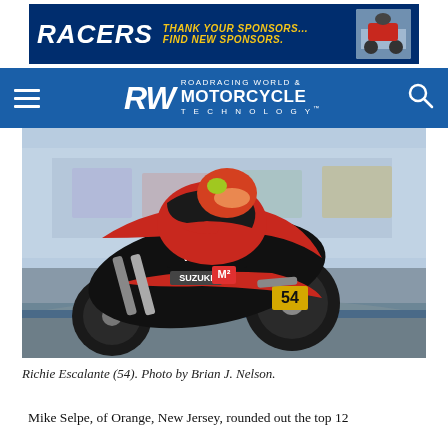[Figure (other): Advertisement banner for RACERS: 'THANK YOUR SPONSORS... FIND NEW SPONSORS.' with dark blue background and yellow text, small motorcycle photo on right.]
RW ROADRACING WORLD & MOTORCYCLE TECHNOLOGY
[Figure (photo): Richie Escalante (#54) riding a black and red Suzuki motorcycle on a race track, leaning into a corner. The bike has Vision and Suzuki branding. Photo by Brian J. Nelson.]
Richie Escalante (54). Photo by Brian J. Nelson.
Mike Selpe, of Orange, New Jersey, rounded out the top 12